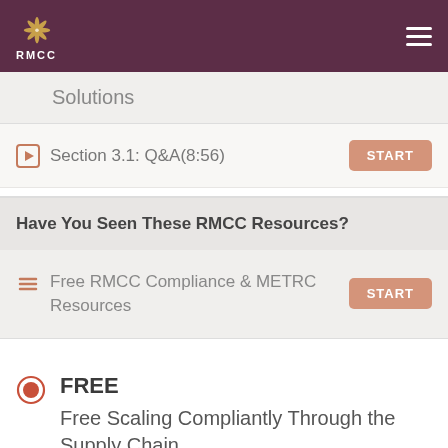[Figure (logo): RMCC logo with cannabis leaf icon on dark purple header background]
Solutions
Section 3.1: Q&A(8:56)
Have You Seen These RMCC Resources?
Free RMCC Compliance & METRC Resources
FREE
Free Scaling Compliantly Through the Supply Chain
Access 3 hours of training!